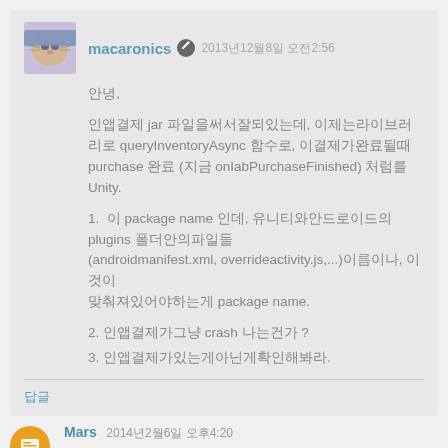macaronics  2013년12월8일 오전2:56
안녕,

인앱결제 jar 파일을써서잘되있는데, 이제는라이브러리로 queryInventoryAsync 함수로, 이결제가완료될때 purchase 완료 (지금 onIabPurchaseFinished) 처럼를 Unity.

1.  이 package name 인데, 유니티와안드로이드의 plugins 폴더안의파일들 (androidmanifest.xml, overrideactivity.js,...)이름이나, 이것이 맞춰져있어야하는게 package name.

2. 인앱결제가그냥 crash 나는건가 ?
3. 인앱결제가있는게아닌가확인해봐라.
답글
Mars  2014년2월6일 오후4:20
안녕, 도와줘서고마워요